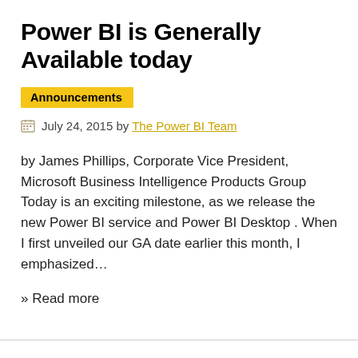Power BI is Generally Available today
Announcements
July 24, 2015 by The Power BI Team
by James Phillips, Corporate Vice President, Microsoft Business Intelligence Products Group Today is an exciting milestone, as we release the new Power BI service and Power BI Desktop . When I first unveiled our GA date earlier this month, I emphasized...
» Read more